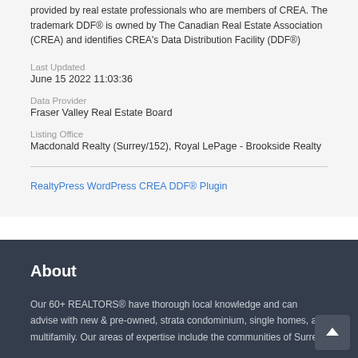provided by real estate professionals who are members of CREA. The trademark DDF® is owned by The Canadian Real Estate Association (CREA) and identifies CREA's Data Distribution Facility (DDF®)
Last Updated
June 15 2022 11:03:36
Data Provider
Fraser Valley Real Estate Board
Listing Office
Macdonald Realty (Surrey/152), Royal LePage - Brookside Realty
RealtyPress WordPress CREA DDF® Plugin
About
Our 60+ REALTORS® have thorough local knowledge and can advise with new & pre-owned, strata condominium, single homes, and multifamily. Our areas of expertise include the communities of Surrey,